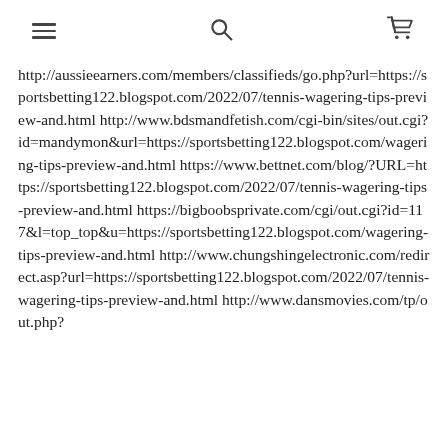[hamburger menu] [search] [cart]
http://aussieearners.com/members/classifieds/go.php?url=https://sportsbetting122.blogspot.com/2022/07/tennis-wagering-tips-preview-and.html http://www.bdsmandfetish.com/cgi-bin/sites/out.cgi?id=mandymon&url=https://sportsbetting122.blogspot.com/wagering-tips-preview-and.html https://www.bettnet.com/blog/?URL=https://sportsbetting122.blogspot.com/2022/07/tennis-wagering-tips-preview-and.html https://bigboobsprivate.com/cgi/out.cgi?id=117&l=top_top&u=https://sportsbetting122.blogspot.com/wagering-tips-preview-and.html http://www.chungshingelectronic.com/redirect.asp?url=https://sportsbetting122.blogspot.com/2022/07/tennis-wagering-tips-preview-and.html http://www.dansmovies.com/tp/out.php?